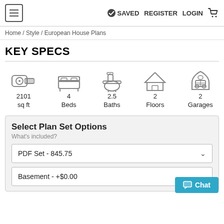≡  ✓ SAVED   REGISTER   LOGIN   🛒
Home / Style / European House Plans
KEY SPECS
[Figure (infographic): Five icons with specs: tape measure (2101 sq ft), bed (4 Beds), toilet (2.5 Baths), house (2 Floors), garage (2 Garages)]
Select Plan Set Options
What's included?
PDF Set - 845.75
Basement - +$0.00